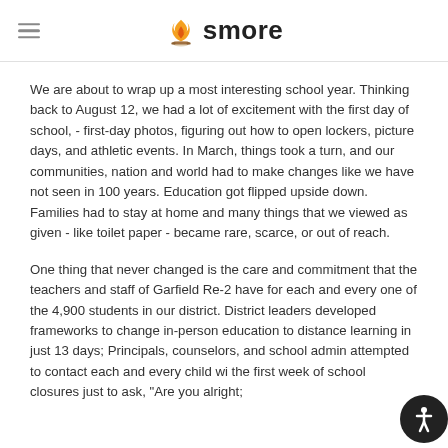smore
We are about to wrap up a most interesting school year. Thinking back to August 12, we had a lot of excitement with the first day of school, - first-day photos, figuring out how to open lockers, picture days, and athletic events. In March, things took a turn, and our communities, nation and world had to make changes like we have not seen in 100 years. Education got flipped upside down. Families had to stay at home and many things that we viewed as given - like toilet paper - became rare, scarce, or out of reach.
One thing that never changed is the care and commitment that the teachers and staff of Garfield Re-2 have for each and every one of the 4,900 students in our district. District leaders developed frameworks to change in-person education to distance learning in just 13 days; Principals, counselors, and school admin attempted to contact each and every child wi the first week of school closures just to ask, "Are you alright;